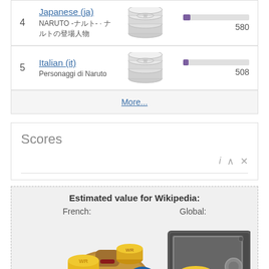4  Japanese (ja)  NARUTO -ナルト- · 580
5  Italian (it)  Personaggi di Naruto · 508
More...
Scores
Estimated value for Wikipedia:
French:
Global:
[Figure (illustration): Coin bag with gold coins on the left (French value), and a metal safe filled with coins on the right (Global value), with a blue calculator badge in the center]